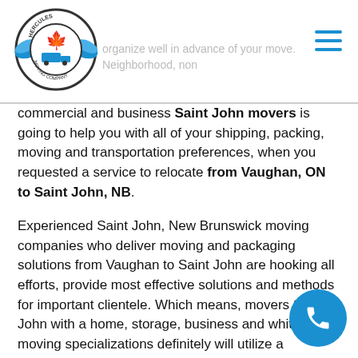Hercules Moving Company logo and navigation
organize well in advance of your move. Neighborhood, non commercial and business Saint John movers is going to help you with all of your shipping, packing, moving and transportation preferences, when you requested a service to relocate from Vaughan, ON to Saint John, NB.
Experienced Saint John, New Brunswick moving companies who deliver moving and packaging solutions from Vaughan to Saint John are hooking all efforts, provide most effective solutions and methods for important clientele. Which means, movers Saint John with a home, storage, business and white-glove moving specializations definitely will utilize a combination various packing materials, all of the above provide us with a possibility make available to everybody in Vaughan, with a top protection on the market. Expert movers utilize and self support for shipping, packing, custom pricing, bar coding,